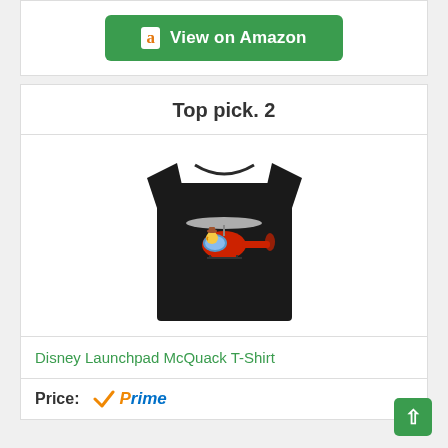[Figure (other): Green 'View on Amazon' button with Amazon 'a' logo icon]
Top pick. 2
[Figure (photo): Black t-shirt featuring Disney Launchpad McQuack character in a red helicopter with silver rotor blades]
Disney Launchpad McQuack T-Shirt
Price:
[Figure (logo): Amazon Prime logo with orange checkmark and blue italic 'Prime' text]